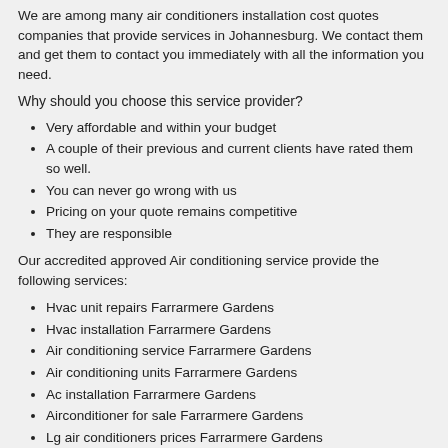We are among many air conditioners installation cost quotes companies that provide services in Johannesburg. We contact them and get them to contact you immediately with all the information you need.
Why should you choose this service provider?
Very affordable and within your budget
A couple of their previous and current clients have rated them so well.
You can never go wrong with us
Pricing on your quote remains competitive
They are responsible
Our accredited approved Air conditioning service provide the following services:
Hvac unit repairs Farrarmere Gardens
Hvac installation Farrarmere Gardens
Air conditioning service Farrarmere Gardens
Air conditioning units Farrarmere Gardens
Ac installation Farrarmere Gardens
Airconditioner for sale Farrarmere Gardens
Lg air conditioners prices Farrarmere Gardens
Air conditioning installers Farrarmere Gardens
Airconditioning companies Farrarmere Gardens
Lg air conditioners Farrarmere Gardens
Air conditioning service Farrarmere Gardens
Daikin air conditioners Farrarmere Gardens
Ac repairs Farrarmere Gardens